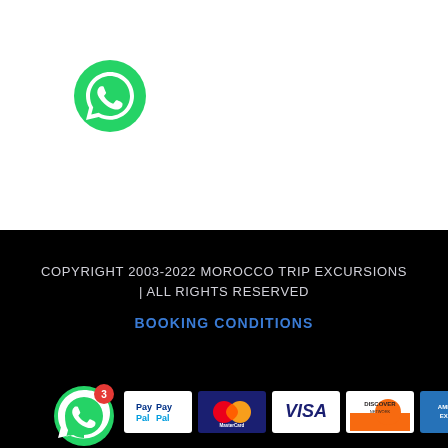[Figure (logo): WhatsApp green logo icon on white background, top left area]
COPYRIGHT 2003-2022 MOROCCO TRIP EXCURSIONS | ALL RIGHTS RESERVED
BOOKING CONDITIONS
[Figure (logo): Payment method logos: WhatsApp (with notification badge), PayPal, MasterCard, Visa, Discover Network, American Express on black background]